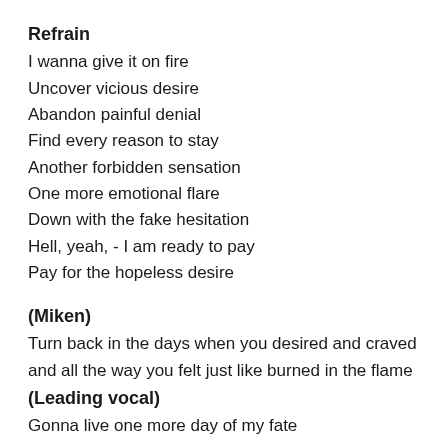Refrain
I wanna give it on fire
Uncover vicious desire
Abandon painful denial
Find every reason to stay
Another forbidden sensation
One more emotional flare
Down with the fake hesitation
Hell, yeah, - I am ready to pay
Pay for the hopeless desire
(Miken)
Turn back in the days when you desired and craved and all the way you felt just like burned in the flame
(Leading vocal)
Gonna live one more day of my fate